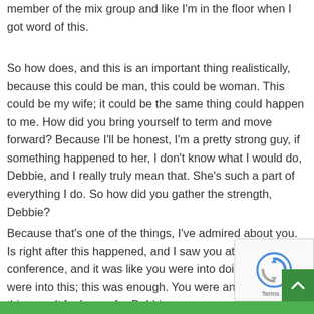member of the mix group and like I'm in the floor when I got word of this.
So how does, and this is an important thing realistically, because this could be man, this could be woman. This could be my wife; it could be the same thing could happen to me. How did you bring yourself to term and move forward? Because I'll be honest, I'm a pretty strong guy, if something happened to her, I don't know what I would do, Debbie, and I really truly mean that. She's such a part of everything I do. So how did you gather the strength, Debbie?
Because that's one of the things, I've admired about you. Is right after this happened, and I saw you at a heat shield conference, and it was like you were into doing this. You were into this; this was enough. You were an individual; this wasn't feel sorry for Debbie;